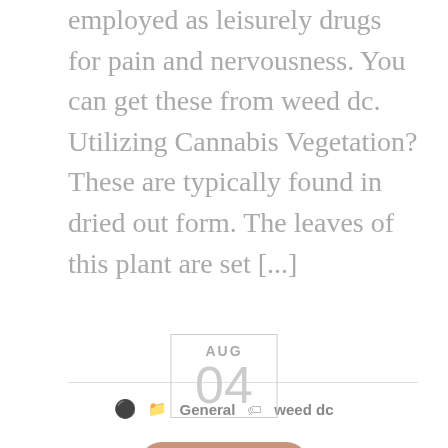employed as leisurely drugs for pain and nervousness. You can get these from weed dc. Utilizing Cannabis Vegetation? These are typically found in dried out form. The leaves of this plant are set [...]
General   weed dc
READ MORE
AUG
04
Do bla...